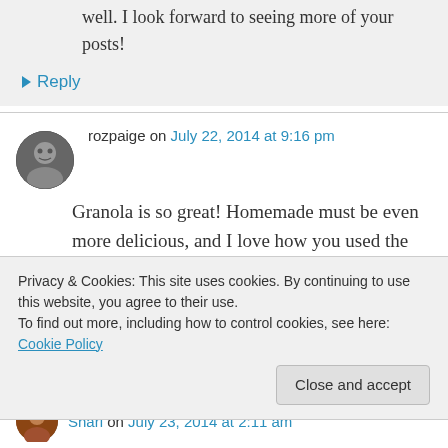well. I look forward to seeing more of your posts!
↳ Reply
rozpaige on July 22, 2014 at 9:16 pm
Granola is so great! Homemade must be even more delicious, and I love how you used the fresh honey, which to me, there is no comparison to a fresh jar of local honey. Your friend is a very generous soul. Shari! Love the
Privacy & Cookies: This site uses cookies. By continuing to use this website, you agree to their use.
To find out more, including how to control cookies, see here: Cookie Policy
Close and accept
Shari on July 23, 2014 at 2:11 am